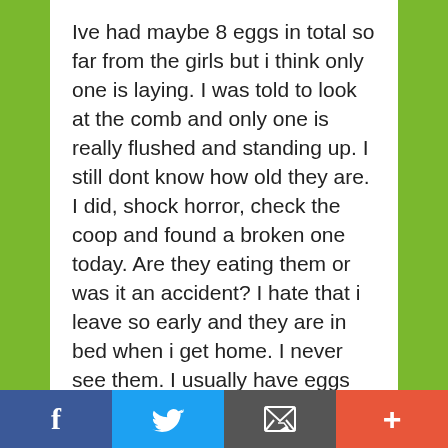Ive had maybe 8 eggs in total so far from the girls but i think only one is laying. I was told to look at the comb and only one is really flushed and standing up. I still dont know how old they are. I did, shock horror, check the coop and found a broken one today. Are they eating them or was it an accident? I hate that i leave so early and they are in bed when i get home. I never see them. I usually have eggs on weekends for breakfast and given that they are bantams thats about it. Im sure there is more on the way.
👍 0 👎 0 ℹ Rate This
f | Twitter | Email | +